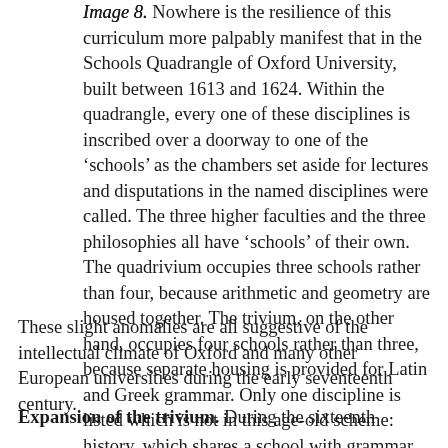Image 8.
Nowhere is the resilience of this curriculum more palpably manifest that in the Schools Quadrangle of Oxford University, built between 1613 and 1624. Within the quadrangle, every one of these disciplines is inscribed over a doorway to one of the ‘schools’ as the chambers set aside for lectures and disputations in the named disciplines were called. The three higher faculties and the three philosophies all have ‘schools’ of their own. The quadrivium occupies three schools rather than four, because arithmetic and geometry are housed together. The trivium, on the other hand, occupies four schools rather than three, because separate housing is provided for Latin and Greek grammar. Only one discipline is listed which is not in this age-old scheme: history, which shares a school with grammar.
These slight anomalies are all suggestive of the intellectual climate of Oxford and many other European universities during the early seventeenth century.
Expansion of the trivium. During the sixteenth